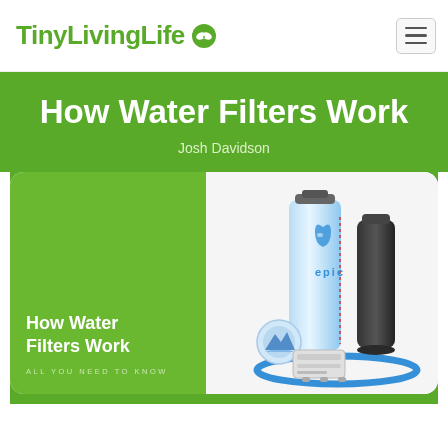TinyLivingLife
How Water Filters Work
Josh Davidson
[Figure (photo): Composite image: left side shows a green book cover reading 'How Water Filters Work — All You Need To Know'; right side shows water filter products including a tall blue/white cylindrical Epic filter, a black cylindrical filter, and a blue ring with filter accessories on white background.]